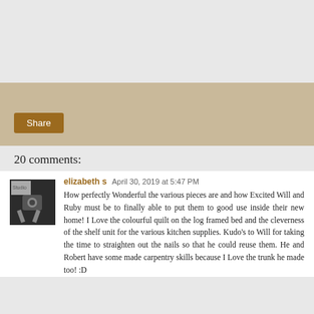[Figure (other): Gray background area at top of page (advertisement or image placeholder)]
[Figure (other): Tan/beige share bar with a brown Share button]
20 comments:
[Figure (photo): Small avatar/profile image of commenter elizabeth s, dark image showing a figure with a camera]
elizabeth s  April 30, 2019 at 5:47 PM
How perfectly Wonderful the various pieces are and how Excited Will and Ruby must be to finally able to put them to good use inside their new home! I Love the colourful quilt on the log framed bed and the cleverness of the shelf unit for the various kitchen supplies. Kudo's to Will for taking the time to straighten out the nails so that he could reuse them. He and Robert have some made carpentry skills because I Love the trunk he made too! :D